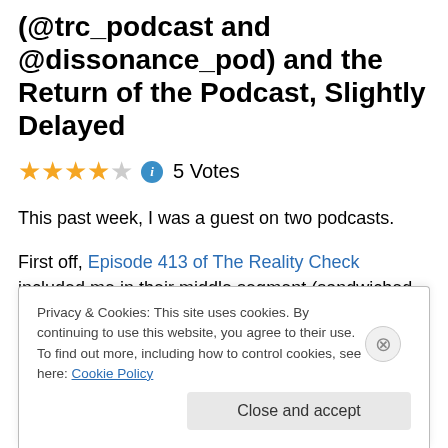(@trc_podcast and @dissonance_pod) and the Return of the Podcast, Slightly Delayed
★★★★☆ ℹ 5 Votes
This past week, I was a guest on two podcasts.
First off, Episode 413 of The Reality Check included me in their middle segment (sandwiched between helium-
Privacy & Cookies: This site uses cookies. By continuing to use this website, you agree to their use.
To find out more, including how to control cookies, see here: Cookie Policy
Close and accept